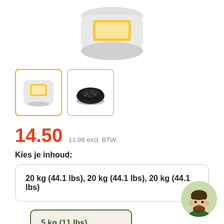[Figure (photo): Product image of a white/silver bag of granules with a yellow label, partially visible at top of page]
[Figure (photo): Two product thumbnails: left shows the bag (selected, orange border), right shows black granules on a plate]
14.50  11.98 excl. BTW
Kies je inhoud:
20 kg (44.1 lbs), 20 kg (44.1 lbs), 20 kg (44.1 lbs)
5 kg (11 lbs)
68% korting
[Figure (illustration): Avatar icon of a bearded man with dark hair, circular, on a green background, positioned bottom-right]